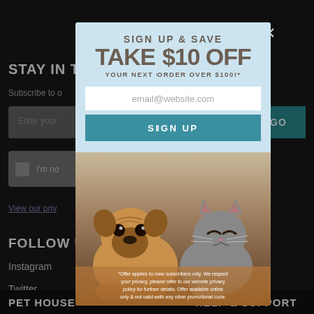STAY IN TO
Subscribe to o
Enter your
GO
I'm no
View our priv
FOLLOW US
Instagram
Twitter
PET HOUSE
HELP & SUPPORT
[Figure (screenshot): Email signup modal popup with light blue background. Header reads 'SIGN UP & SAVE' and 'TAKE $10 OFF' and 'YOUR NEXT ORDER OVER $100!*'. Below is an email input field with placeholder 'email@website.com', a teal 'SIGN UP' button, and a photo of a pug and cat sitting together. Fine print at bottom reads '*Offer applies to new subscribers only. We respect your privacy, please refer to our website privacy policy for further details. Offer available online only & not valid with any other promotional code.']